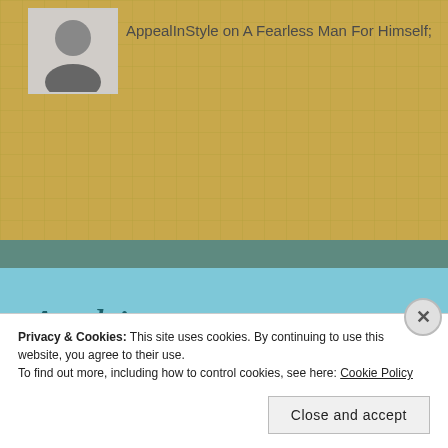AppealInStyle on A Fearless Man For Himself;
Archives
December 2017
November 2017
Privacy & Cookies: This site uses cookies. By continuing to use this website, you agree to their use.
To find out more, including how to control cookies, see here: Cookie Policy
Close and accept